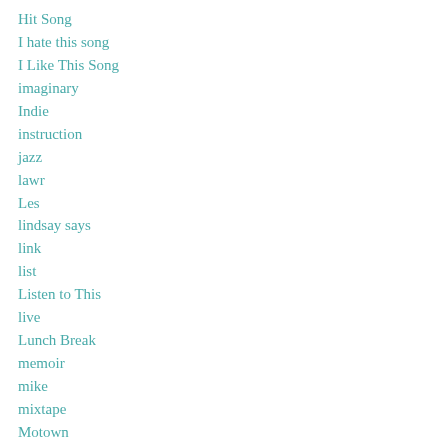Hit Song
I hate this song
I Like This Song
imaginary
Indie
instruction
jazz
lawr
Les
lindsay says
link
list
Listen to This
live
Lunch Break
memoir
mike
mixtape
Motown
Movies
Murder Songs
Name That Tune